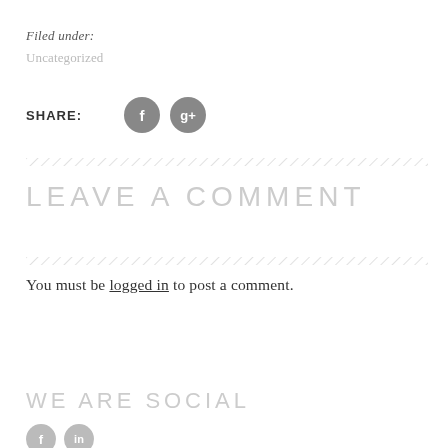Filed under:
Uncategorized
SHARE:
[Figure (infographic): Social share icons: Facebook (f) and Google Plus (g+) as grey circles]
LEAVE A COMMENT
You must be logged in to post a comment.
WE ARE SOCIAL
[Figure (infographic): Social media icons at bottom: Facebook and another platform as small grey circles]